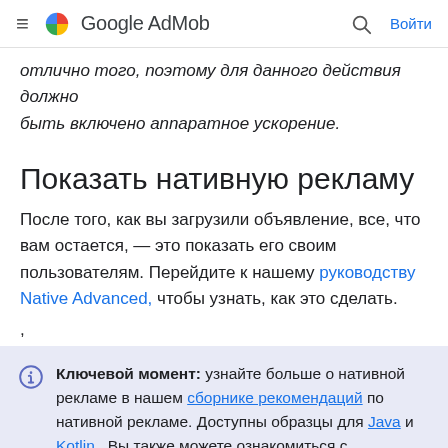Google AdMob — Войти
отлично того, поэтому для данного действия должно быть включено аппаратное ускорение.
Показать нативную рекламу
После того, как вы загрузили объявление, все, что вам остается, — это показать его своим пользователям. Перейдите к нашему руководству Native Advanced, чтобы узнать, как это сделать.
,
Ключевой момент: узнайте больше о нативной рекламе в нашем сборнике рекомендаций по нативной рекламе. Доступны образцы для Java и Kotlin . Вы также можете ознакомиться с некоторыми историями успеха